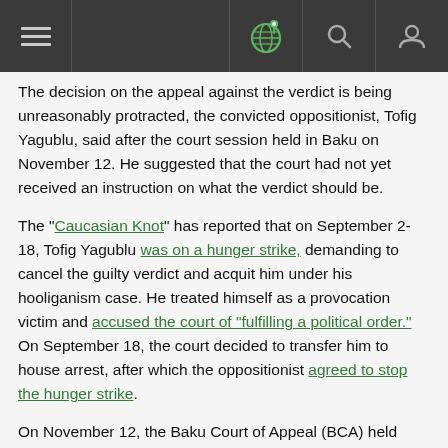[Navigation bar with hamburger menu, globe icon, search icon, user icon]
The decision on the appeal against the verdict is being unreasonably protracted, the convicted oppositionist, Tofig Yagublu, said after the court session held in Baku on November 12. He suggested that the court had not yet received an instruction on what the verdict should be.
The "Caucasian Knot" has reported that on September 2-18, Tofig Yagublu was on a hunger strike, demanding to cancel the guilty verdict and acquit him under his hooliganism case. He treated himself as a provocation victim and accused the court of "fulfilling a political order." On September 18, the court decided to transfer him to house arrest, after which the oppositionist agreed to stop the hunger strike.
On November 12, the Baku Court of Appeal (BCA) held another session on Yagublu's appeal complaint.
At the trial, Yagublu has testified. "I again pointed out that this is a politically motivated case. If investigators had reliable proofs of my